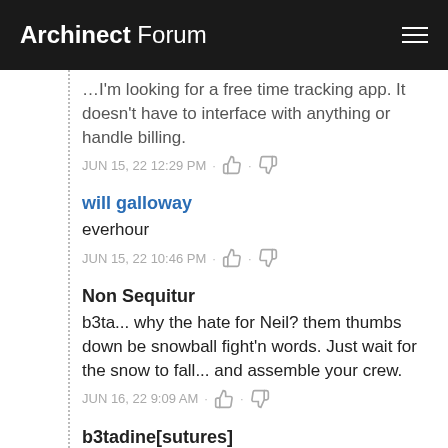Archinect Forum
...I'm looking for a free time tracking app. It doesn't have to interface with anything or handle billing.
JUN 15, 22 12:29 PM
will galloway
everhour
JUN 15, 22 10:46 PM
Non Sequitur
b3ta... why the hate for Neil? them thumbs down be snowball fight'n words. Just wait for the snow to fall... and assemble your crew.
JUN 16, 22 9:09 AM
b3tadine[sutures]
We'll have none of your Canadian rockers, until we acknowledge Canadian-ness of the best person in...